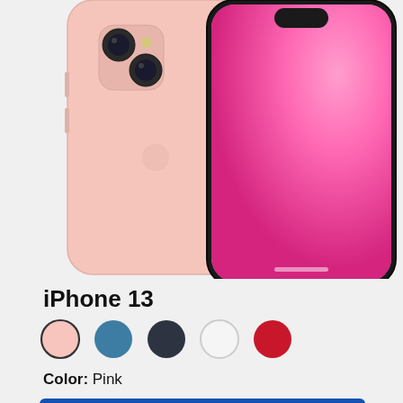[Figure (photo): Two iPhone 13 phones shown from the back and front, in pink color. The back phone shows the pink aluminum finish and dual camera system. The front phone displays a vibrant pink wallpaper on its screen.]
iPhone 13
[Figure (other): Five circular color swatches: pink (selected, with black border), blue, midnight/dark, white, and red.]
Color: Pink
SHOP NOW
Description